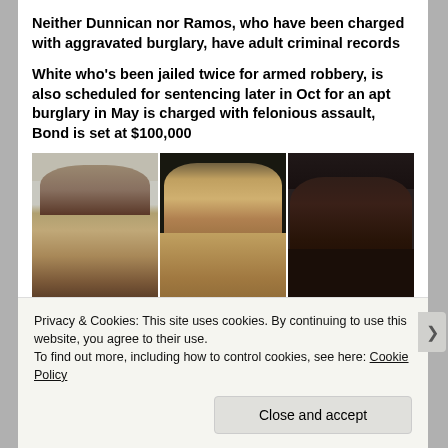Neither Dunnican nor Ramos, who have been charged with aggravated burglary, have adult criminal records
White who's been jailed twice for armed robbery, is also scheduled for sentencing later in Oct for an apt burglary in May is charged with felonious assault, Bond is set at $100,000
[Figure (photo): Three mugshot photos side by side showing three individuals from head/shoulder level]
Privacy & Cookies: This site uses cookies. By continuing to use this website, you agree to their use.
To find out more, including how to control cookies, see here: Cookie Policy
Close and accept